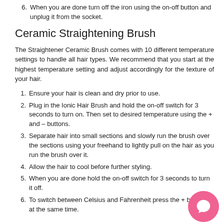6. When you are done turn off the iron using the on-off button and unplug it from the socket.
Ceramic Straightening Brush
The Straightener Ceramic Brush comes with 10 different temperature settings to handle all hair types. We recommend that you start at the highest temperature setting and adjust accordingly for the texture of your hair.
1. Ensure your hair is clean and dry prior to use.
2. Plug in the Ionic Hair Brush and hold the on-off switch for 3 seconds to turn on. Then set to desired temperature using the + and – buttons.
3. Separate hair into small sections and slowly run the brush over the sections using your freehand to lightly pull on the hair as you run the brush over it.
4. Allow the hair to cool before further styling.
5. When you are done hold the on-off switch for 3 seconds to turn it off.
6. To switch between Celsius and Fahrenheit press the + buttons at the same time.